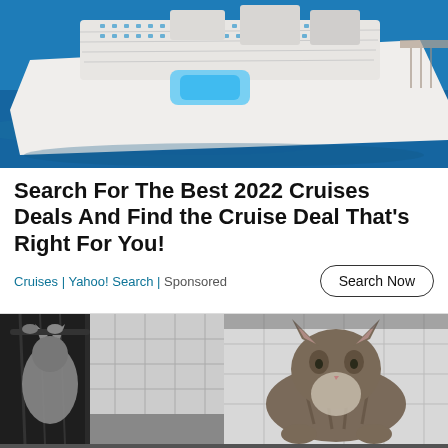[Figure (photo): Aerial view of a large cruise ship on blue water, showing the ship's upper decks, pools, and modern architecture from above]
Search For The Best 2022 Cruises Deals And Find the Cruise Deal That's Right For You!
Cruises | Yahoo! Search | Sponsored
[Figure (photo): Two side-by-side images of cats in a bathroom with white tile walls — left shows cats climbing/hanging on a dark curtain, right shows a tabby cat crouching on a surface looking at its reflection or downward]
We and our partners use cookies on this site to improve our service, perform analytics, personalize advertising, measure advertising performance, and remember website preferences.
Ok